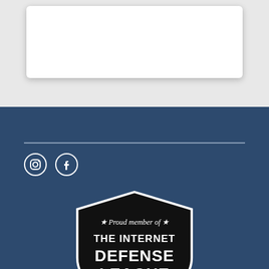[Figure (other): White rounded card on light gray background]
[Figure (logo): Social media icons: Instagram and Facebook circles on dark blue background]
[Figure (logo): Internet Defense League badge: black shield shape with text 'Proud member of THE INTERNET DEFENSE LEAGUE' in white on black shield]